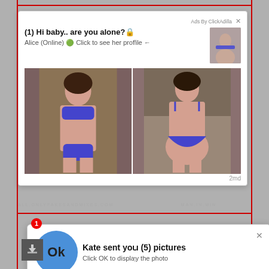[Figure (screenshot): Advertisement popup card showing 'Ads By ClickAdilla' with text '(1) Hi baby.. are you alone?🔒' and 'Alice (Online) 🟢 Click to see her profile ←', a thumbnail image, and two photos of a woman in blue lingerie. Timestamp '2md' shown.]
[Figure (screenshot): Second advertisement popup notification with blue circle OK button, notification badge '1', text 'Kate sent you (5) pictures', subtitle 'Click OK to display the photo', close X button, and footer 'Ads By ClickAdilla  a1h'. Below shows partial text 'Young girls lesbianfuck' in red italic.]